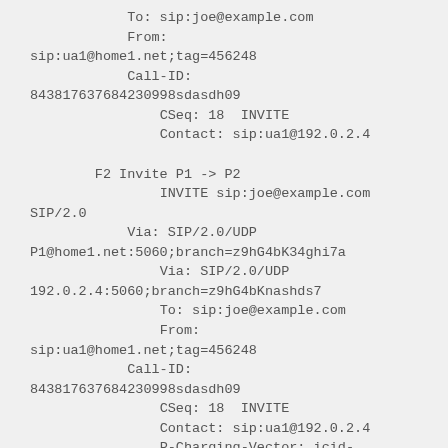To: sip:joe@example.com
            From:
sip:ua1@home1.net;tag=456248
            Call-ID:
843817637684230998sdasdh09
                CSeq: 18 INVITE
                Contact: sip:ua1@192.0.2.4

        F2 Invite P1 -> P2
                INVITE sip:joe@example.com SIP/2.0
            Via: SIP/2.0/UDP
P1@home1.net:5060;branch=z9hG4bK34ghi7a
                Via: SIP/2.0/UDP
192.0.2.4:5060;branch=z9hG4bKnashds7
                To: sip:joe@example.com
                From:
sip:ua1@home1.net;tag=456248
            Call-ID:
843817637684230998sdasdh09
                CSeq: 18 INVITE
                Contact: sip:ua1@192.0.2.4
                P-Charging-Vector: icid-